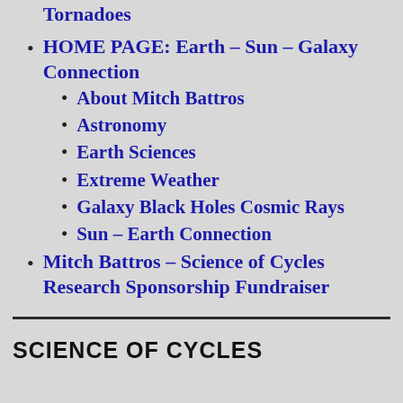Tornadoes
HOME PAGE: Earth – Sun – Galaxy Connection
About Mitch Battros
Astronomy
Earth Sciences
Extreme Weather
Galaxy Black Holes Cosmic Rays
Sun – Earth Connection
Mitch Battros – Science of Cycles Research Sponsorship Fundraiser
SCIENCE OF CYCLES